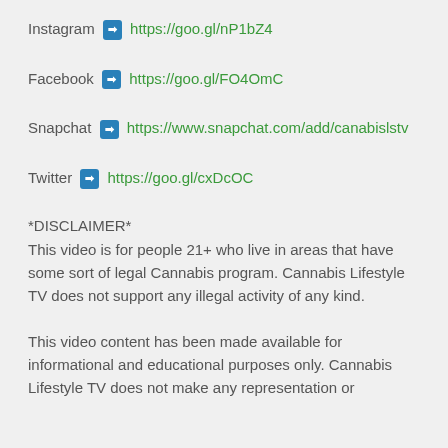Instagram ➡ https://goo.gl/nP1bZ4
Facebook ➡ https://goo.gl/FO4OmC
Snapchat ➡ https://www.snapchat.com/add/canabislstv
Twitter ➡ https://goo.gl/cxDcOC
*DISCLAIMER*
This video is for people 21+ who live in areas that have some sort of legal Cannabis program. Cannabis Lifestyle TV does not support any illegal activity of any kind.
This video content has been made available for informational and educational purposes only. Cannabis Lifestyle TV does not make any representation or